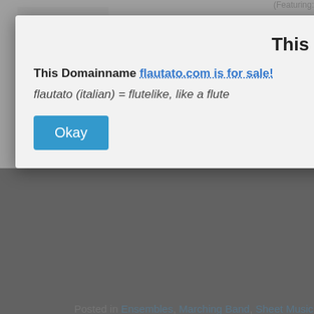[Figure (screenshot): Screenshot of a website showing a modal dialog overlay on a music sheet website. The modal says 'This Domainname is for sale!' with a link flautato.com and italic text 'flautato (italian) = flutelike, like a flute', with an Okay button. In the background, partial page text about Cartoon Capers, Posted in Ensembles, Marching Band, Sheet Music, and a Born to Hand Jive post dated Wednesday, February 3rd, 2016 with a treble clef thumbnail and text beginning '(from GREASE). By Jim Jacobs and Michael Brown and Will Ro...']